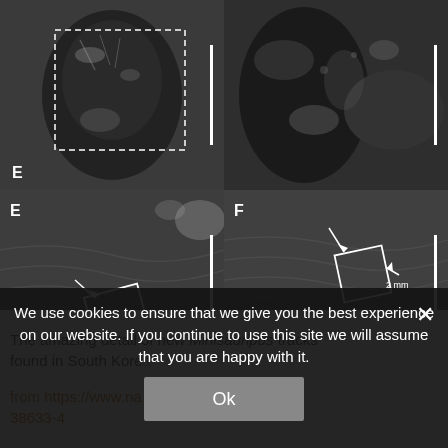[Figure (photo): Top-left: Black and white close-up fossil/track photo with dashed rectangle overlay, label 'E' at bottom-left, white vertical scale bar at right]
[Figure (photo): Top-right: Black and white close-up fossil/track photo, no overlay box, white vertical scale bar at right]
[Figure (photo): Bottom-left: Black and white macro fossil/track photo with white square box and arrow annotations, label 'E' at top-left, white vertical scale bar at right]
[Figure (photo): Bottom-right: Black and white macro fossil/track photo with white square box, arrows and '2 mm' annotation, label 'F' at top-left, white vertical scale bar at right]
We use cookies to ensure that we give you the best experience on our website. If you continue to use this site we will assume that you are happy with it.
The amazing detail of new Minisauripus tracks found in South Korea from https://www.na.../articles/s41598-019-38633-4